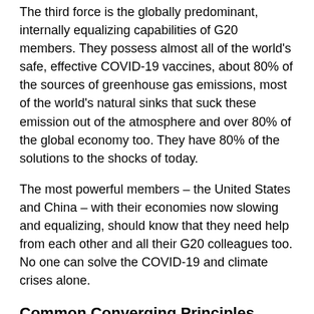The third force is the globally predominant, internally equalizing capabilities of G20 members. They possess almost all of the world's safe, effective COVID-19 vaccines, about 80% of the sources of greenhouse gas emissions, most of the world's natural sinks that suck these emission out of the atmosphere and over 80% of the global economy too. They have 80% of the solutions to the shocks of today.
The most powerful members – the United States and China – with their economies now slowing and equalizing, should know that they need help from each other and all their G20 colleagues too. No one can solve the COVID-19 and climate crises alone.
Common Converging Principles
The fourth force is G20 members' convergence on common principles and domestic practices on health, climate and economic recovery. Most big G20 members are now producing, sharing or financing COVID-19 vaccines. Almost all are acting to control climate change and stimulate their economies in fiscal and monetary ways. They are all committed, careful Keynesians now.
Domestic Political Cohesion